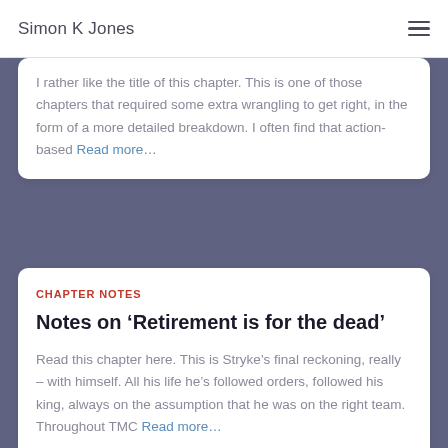Simon K Jones
I rather like the title of this chapter. This is one of those chapters that required some extra wrangling to get right, in the form of a more detailed breakdown. I often find that action-based Read more...
CHAPTER NOTES
Notes on ‘Retirement is for the dead’
Read this chapter here. This is Stryke’s final reckoning, really – with himself. All his life he’s followed orders, followed his king, always on the assumption that he was on the right team. Throughout TMC Read more...